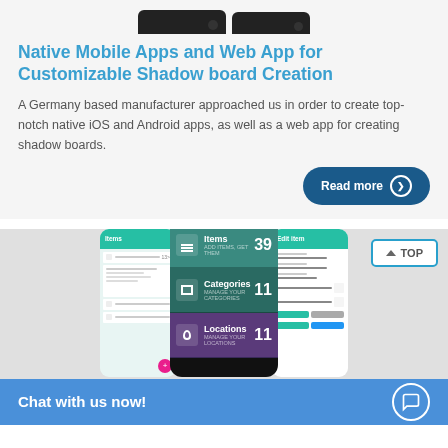[Figure (screenshot): Phone mockup screenshots at top of card]
Native Mobile Apps and Web App for Customizable Shadow board Creation
A Germany based manufacturer approached us in order to create top-notch native iOS and Android apps, as well as a web app for creating shadow boards.
Read more ❯
[Figure (screenshot): Three mobile app screenshots showing Dashboard with Items (39), Categories (11), Locations (11) screens on Android devices]
Chat with us now!